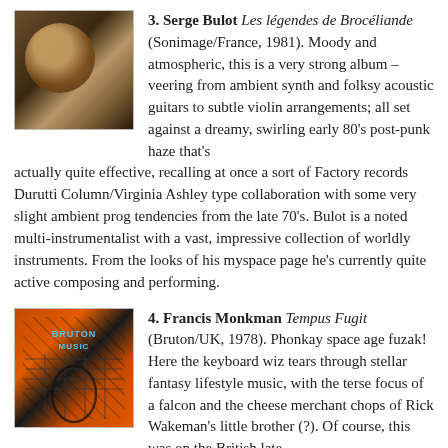[Figure (photo): Album cover for Les légendes de Brocéliande by Serge Bulot – dark brown tones with a moon-like circular shape]
3. Serge Bulot Les légendes de Brocéliande (Sonimage/France, 1981). Moody and atmospheric, this is a very strong album – veering from ambient synth and folksy acoustic guitars to subtle violin arrangements; all set against a dreamy, swirling early 80's post-punk haze that's actually quite effective, recalling at once a sort of Factory records Durutti Column/Virginia Ashley type collaboration with some very slight ambient prog tendencies from the late 70's. Bulot is a noted multi-instrumentalist with a vast, impressive collection of worldly instruments. From the looks of his myspace page he's currently quite active composing and performing.
[Figure (photo): Album cover for Tempus Fugit by Francis Monkman – orange and black with grid lines, featuring a guitar-like silhouette]
4. Francis Monkman Tempus Fugit (Bruton/UK, 1978). Phonkay space age fuzak! Here the keyboard wiz tears through stellar fantasy lifestyle music, with the terse focus of a falcon and the cheese merchant chops of Rick Wakeman's little brother (?). Of course, this was on the British late 70's standard jazz disco funk label Bruton. Here you'll find plenty of